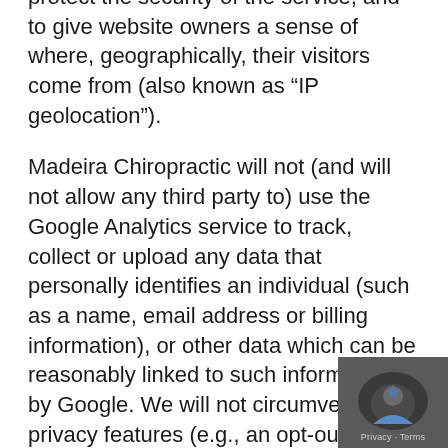protect the security of the service, and to give website owners a sense of where, geographically, their visitors come from (also known as “IP geolocation”).
Madeira Chiropractic will not (and will not allow any third party to) use the Google Analytics service to track, collect or upload any data that personally identifies an individual (such as a name, email address or billing information), or other data which can be reasonably linked to such information by Google. We will not circumvent any privacy features (e.g., an opt-out) that are part of the Google Analytics service and will comply with all applicable laws and regulations relating to the collection of information from visitors.
[Figure (other): Google reCAPTCHA privacy badge widget in bottom-right corner with icon and Privacy - Terms text]